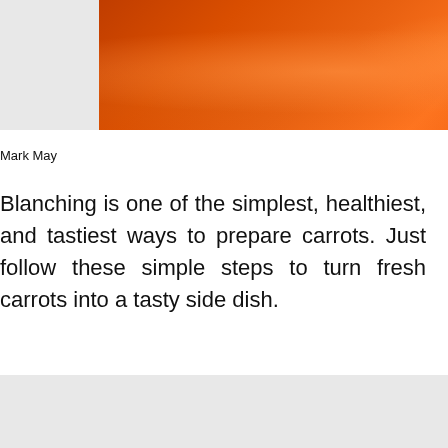[Figure (photo): Close-up photo of orange carrots arranged decoratively, showing bright orange color with folds and texture]
Mark May
Blanching is one of the simplest, healthiest, and tastiest ways to prepare carrots. Just follow these simple steps to turn fresh carrots into a tasty side dish.